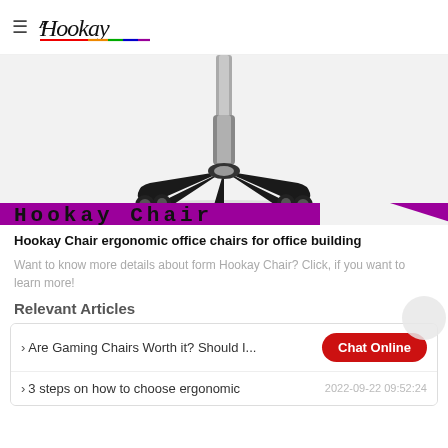≡ Hookay
[Figure (photo): Bottom view of an office chair base with casters and central cylinder column, on a light gray background, with a purple diagonal banner overlay reading 'Hookay Chair']
Hookay Chair ergonomic office chairs for office building
Want to know more details about form Hookay Chair? Click, if you want to learn more!
Relevant Articles
Are Gaming Chairs Worth it? Should I...
3 steps on how to choose ergonomic